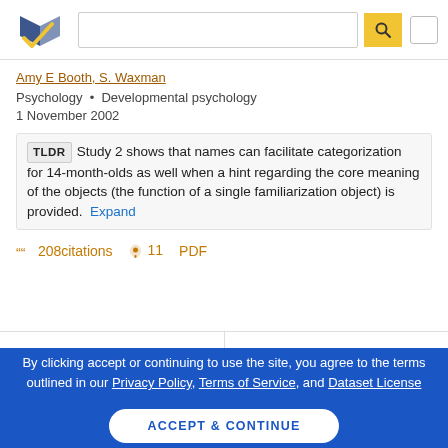[Figure (logo): Semantic Scholar logo - blue and gold book/checkmark icon]
Amy E Booth, S. Waxman
Psychology • Developmental psychology
1 November 2002
TLDR Study 2 shows that names can facilitate categorization for 14-month-olds as well when a hint regarding the core meaning of the objects (the function of a single familiarization object) is provided. Expand
208citations  11  PDF
By clicking accept or continuing to use the site, you agree to the terms outlined in our Privacy Policy, Terms of Service, and Dataset License
ACCEPT & CONTINUE